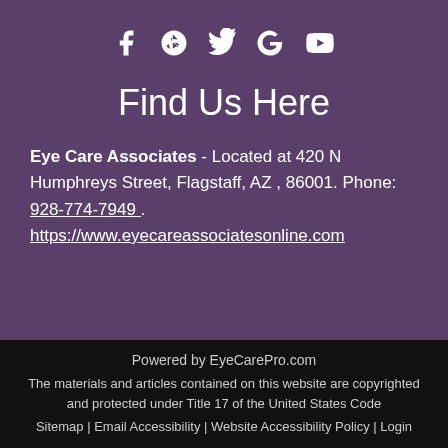[Figure (other): Social media icons: Facebook, Yelp, Twitter, Google, YouTube — white icons on purple background]
Find Us Here
Eye Care Associates - Located at 420 N Humphreys Street, Flagstaff, AZ , 86001. Phone: 928-774-7949 .
https://www.eyecareassociatesonline.com
Powered by EyeCarePro.com
The materials and articles contained on this website are copyrighted and protected under Title 17 of the United States Code
Sitemap | Email Accessibility | Website Accessibility Policy | Login